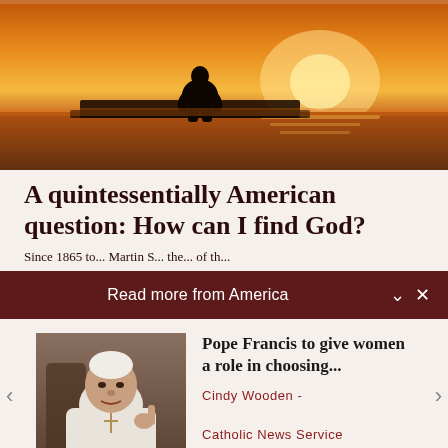[Figure (photo): Silhouette of a person sitting hunched on a dock or pier at sunset, with orange sky and calm water in background]
A quintessentially American question: How can I find God?
Since 1865 to... Martin S... the... of th...
Read more from America
[Figure (photo): Photo of Pope Francis in white vestments, gesturing with his right hand, seated]
Pope Francis to give women a role in choosing...
Cindy Wooden - Catholic News Service